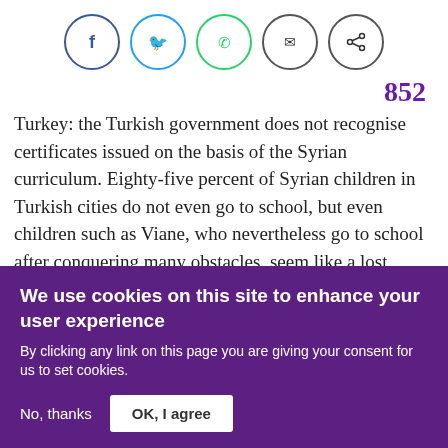[Figure (other): Social sharing icons: Facebook (blue circle), Twitter (blue circle), WhatsApp (green circle), Email (dark circle), Share (dark circle)]
852
Turkey: the Turkish government does not recognise certificates issued on the basis of the Syrian curriculum. Eighty-five percent of Syrian children in Turkish cities do not even go to school, but even children such as Viane, who nevertheless go to school after conquering many obstacles, seem like a lost generation.
Mohamed Meray, the former rector of the economics
We use cookies on this site to enhance your user experience
By clicking any link on this page you are giving your consent for us to set cookies.
No, thanks
OK, I agree